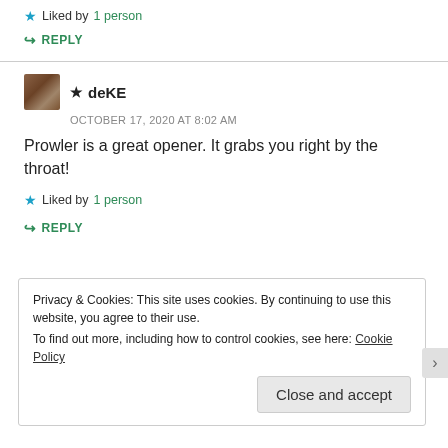★ Liked by 1 person
↪ REPLY
★ deKE — OCTOBER 17, 2020 AT 8:02 AM
Prowler is a great opener. It grabs you right by the throat!
★ Liked by 1 person
↪ REPLY
Privacy & Cookies: This site uses cookies. By continuing to use this website, you agree to their use. To find out more, including how to control cookies, see here: Cookie Policy
Close and accept